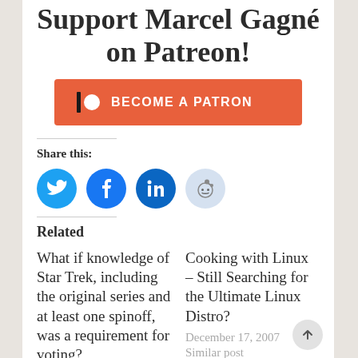Support Marcel Gagne on Patreon!
[Figure (other): Patreon 'Become a Patron' button in orange/red color with Patreon logo icon]
Share this:
[Figure (other): Social sharing icons: Twitter (blue bird), Facebook (blue F), LinkedIn (blue in), Reddit (light blue alien)]
Related
What if knowledge of Star Trek, including the original series and at least one spinoff, was a requirement for voting?
Cooking with Linux – Still Searching for the Ultimate Linux Distro?
December 17, 2007
Similar post